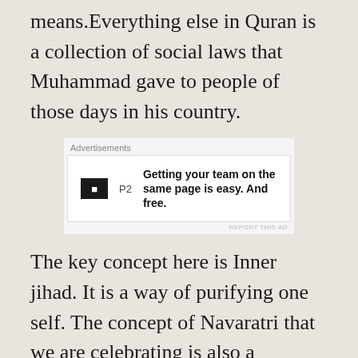means.Everything else in Quran is a collection of social laws that Muhammad gave to people of those days in his country.
[Figure (other): Advertisement banner for P2 service with logo and text: Getting your team on the same page is easy. And free.]
The key concept here is Inner jihad. It is a way of purifying one self. The concept of Navaratri that we are celebrating is also a symbolic representation of the Inner Jihad. Mahishasura represents the three malas: ahankar, karma and maya (delusion). Kali destroying Mahishasura in 9 days represents destroying these three malas (3 days for each mala). The